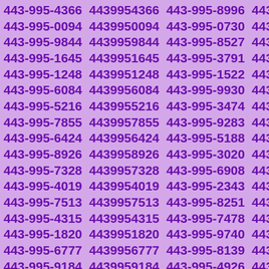443-995-4366 4439954366 443-995-8996 4439958996
443-995-0094 4439950094 443-995-0730 4439950730
443-995-9844 4439959844 443-995-8527 4439958527
443-995-1645 4439951645 443-995-3791 4439953791
443-995-1248 4439951248 443-995-1522 4439951522
443-995-6084 4439956084 443-995-9930 4439959930
443-995-5216 4439955216 443-995-3474 4439953474
443-995-7855 4439957855 443-995-9283 4439959283
443-995-6424 4439956424 443-995-5188 4439955188
443-995-8926 4439958926 443-995-3020 4439953020
443-995-7328 4439957328 443-995-6908 4439956908
443-995-4019 4439954019 443-995-2343 4439952343
443-995-7513 4439957513 443-995-8251 4439958251
443-995-4315 4439954315 443-995-7478 4439957478
443-995-1820 4439951820 443-995-9740 4439959740
443-995-6777 4439956777 443-995-8139 4439958139
443-995-9184 4439959184 443-995-4926 4439954926
443-995-7670 4439957670 443-995-3866 4439953866
443-995-9067 4439959067 443-995-0152 4439950152
443-995-0944 4439950944 443-995-4635 4439954635
443-995-4318 4439954318 443-995-3844 4439953844